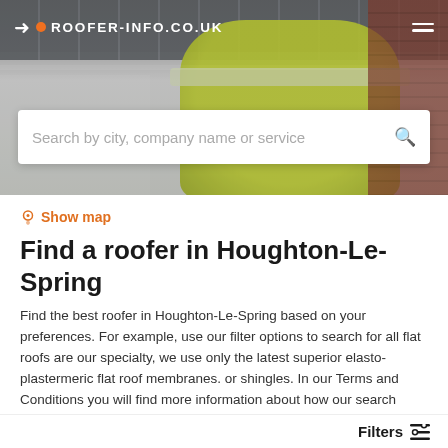[Figure (screenshot): Hero background image showing a roofer in a yellow high-visibility jacket working on slate roof tiles, with brick wall visible on the right]
ROOFER-INFO.CO.UK
Search by city, company name or service
Show map
Find a roofer in Houghton-Le-Spring
Find the best roofer in Houghton-Le-Spring based on your preferences. For example, use our filter options to search for all flat roofs are our specialty, we use only the latest superior elasto-plastermeric flat roof membranes. or shingles. In our Terms and Conditions you will find more information about how our search results are generated.
Filters